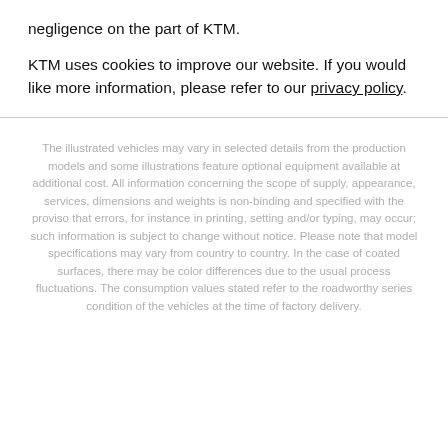negligence on the part of KTM.
KTM uses cookies to improve our website. If you would like more information, please refer to our privacy policy.
The illustrated vehicles may vary in selected details from the production models and some illustrations feature optional equipment available at additional cost. All information concerning the scope of supply, appearance, services, dimensions and weights is non-binding and specified with the proviso that errors, for instance in printing, setting and/or typing, may occur; such information is subject to change without notice. Please note that model specifications may vary from country to country. In the case of coated surfaces, there may be color differences due to the usual process fluctuations. The consumption values stated refer to the roadworthy series condition of the vehicles at the time of factory delivery.